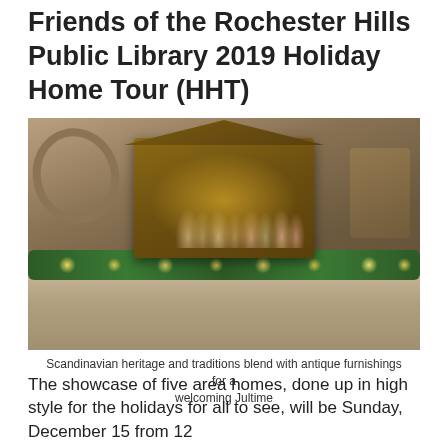Friends of the Rochester Hills Public Library 2019 Holiday Home Tour (HHT)
[Figure (photo): Holiday mantel decorated with a Nativity scene, greenery garland with warm white lights, figurines, and a wicker wreath with bow on the left. Stone wall beneath the mantel.]
Scandinavian heritage and traditions blend with antique furnishings for a welcoming Jultime
The showcase of five area homes, done up in high style for the holidays for all to see, will be Sunday, December 15 from 12